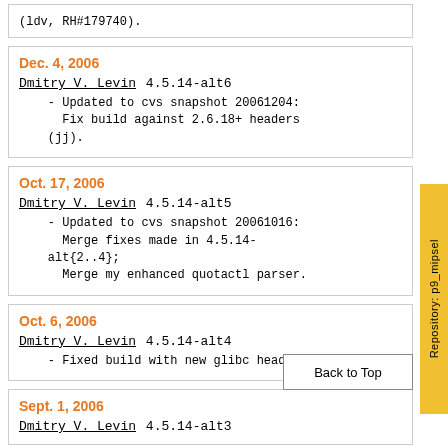(ldv, RH#179740).
Dec. 4, 2006
Dmitry V. Levin 4.5.14-alt6
    - Updated to cvs snapshot 20061204:
      Fix build against 2.6.18+ headers
    (jj).
Oct. 17, 2006
Dmitry V. Levin 4.5.14-alt5
    - Updated to cvs snapshot 20061016:
      Merge fixes made in 4.5.14-alt{2..4};
      Merge my enhanced quotactl parser.
Oct. 6, 2006
Dmitry V. Levin 4.5.14-alt4
    - Fixed build with new glibc headers.
Sept. 1, 2006
Dmitry V. Levin 4.5.14-alt3